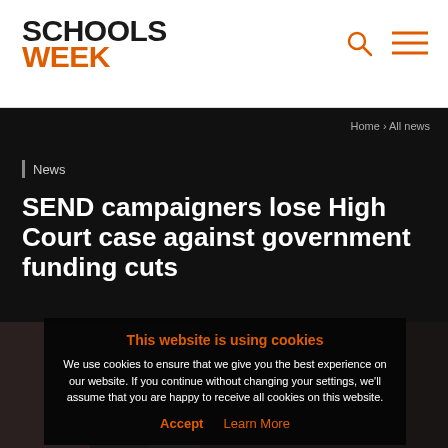SCHOOLS WEEK
Home › All news
News
SEND campaigners lose High Court case against government funding cuts
[Figure (screenshot): Dark background photo partially visible behind cookie notice]
This website is using cookies
We use cookies to ensure that we give you the best experience on our website. If you continue without changing your settings, we'll assume that you are happy to receive all cookies on this website.
Accept  Learn More